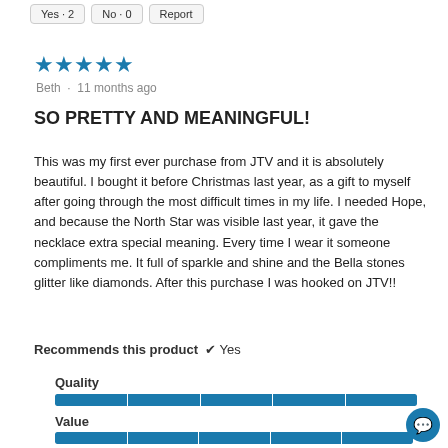Yes · 2   No · 0   Report
★★★★★
Beth · 11 months ago
SO PRETTY AND MEANINGFUL!
This was my first ever purchase from JTV and it is absolutely beautiful. I bought it before Christmas last year, as a gift to myself after going through the most difficult times in my life. I needed Hope, and because the North Star was visible last year, it gave the necklace extra special meaning. Every time I wear someone compliments me. It full of sparkle and shine and the Bella stones glitter like diamonds. After this purchase I was hooked on JTV!!
Recommends this product ✔ Yes
Quality
[Figure (bar-chart): Quality rating bar - fully filled teal progress bar]
Value
[Figure (bar-chart): Value rating bar - fully filled teal progress bar]